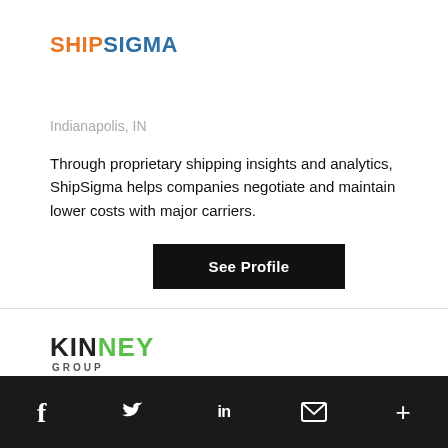[Figure (logo): ShipSigma logo with SHIP in orange and SIGMA in blue, bold sans-serif text]
Indianapolis, IN
Through proprietary shipping insights and analytics, ShipSigma helps companies negotiate and maintain lower costs with major carriers.
See Profile
[Figure (logo): Kinney Group logo with KIN in black and NEY in green, GROUP in small caps below]
f  t  in  mail  +